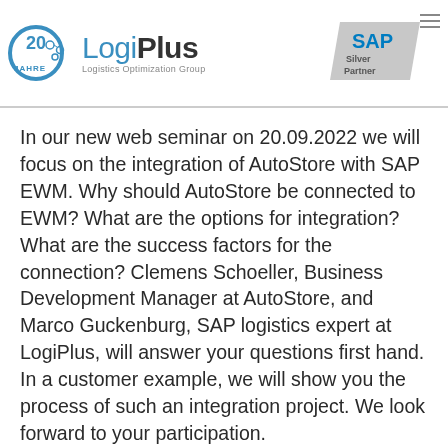[Figure (logo): LogiPlus Logistics Optimization Group logo with 20 Jahre anniversary mark and SAP Silver Partner badge]
In our new web seminar on 20.09.2022 we will focus on the integration of AutoStore with SAP EWM. Why should AutoStore be connected to EWM? What are the options for integration? What are the success factors for the connection? Clemens Schoeller, Business Development Manager at AutoStore, and Marco Guckenburg, SAP logistics expert at LogiPlus, will answer your questions first hand. In a customer example, we will show you the process of such an integration project. We look forward to your participation.